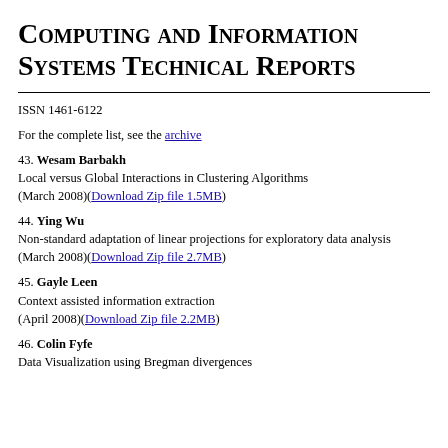Computing and Information Systems Technical Reports
ISSN 1461-6122
For the complete list, see the archive
43. Wesam Barbakh
Local versus Global Interactions in Clustering Algorithms
(March 2008)(Download Zip file 1.5MB)
44. Ying Wu
Non-standard adaptation of linear projections for exploratory data analysis
(March 2008)(Download Zip file 2.7MB)
45. Gayle Leen
Context assisted information extraction
(April 2008)(Download Zip file 2.2MB)
46. Colin Fyfe
Data Visualization using Bregman divergences